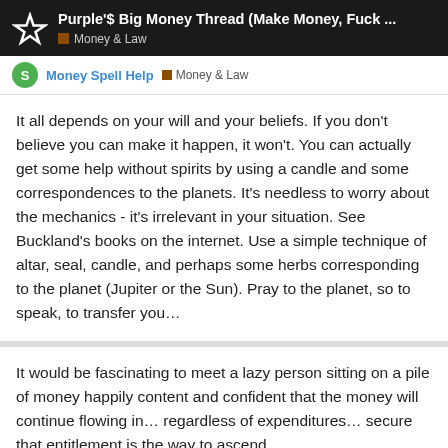Purple'$ Big Money Thread (Make Money, Fuck ... | Money & Law
Money Spell Help | Money & Law
It all depends on your will and your beliefs. If you don't believe you can make it happen, it won't. You can actually get some help without spirits by using a candle and some correspondences to the planets. It's needless to worry about the mechanics - it's irrelevant in your situation. See Buckland's books on the internet. Use a simple technique of altar, seal, candle, and perhaps some herbs corresponding to the planet (Jupiter or the Sun). Pray to the planet, so to speak, to transfer you…
It would be fascinating to meet a lazy person sitting on a pile of money happily content and confident that the money will continue flowing in… regardless of expenditures… secure that entitlement is the way to ascend.
Why are we talking to becoming a l
10 / 21